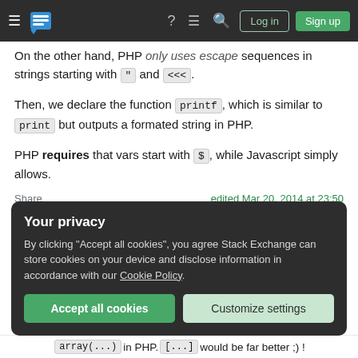Stack Exchange navigation bar with hamburger menu, logo, help, chat, search icons, Log in and Sign up buttons
On the other hand, PHP only uses escape sequences in strings starting with " and <<<.
Then, we declare the function printf, which is similar to print but outputs a formated string in PHP.
PHP requires that vars start with $, while Javascript simply allows.
Share   edited Mar 20, 2014 at 23:50
Improve this answer
Your privacy
By clicking "Accept all cookies", you agree Stack Exchange can store cookies on your device and disclose information in accordance with our Cookie Policy.
Accept all cookies   Customize settings
array(...) in PHP. [...] would be far better ;) !